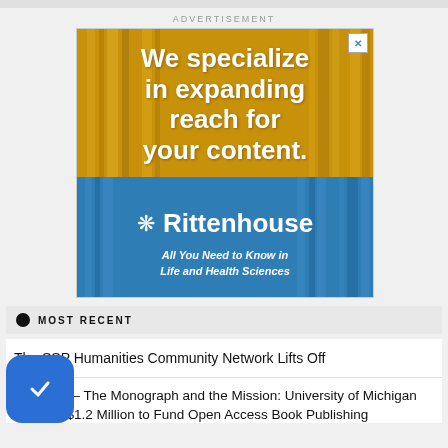ADVERTISEMENT
[Figure (illustration): Rittenhouse advertisement with gold/blue background showing bookshelves. Text reads: 'We specialize in expanding reach for your content.' with Rittenhouse logo and tagline 'All You Need to Know in Life and Health Sciences']
MOST RECENT
The SSP Humanities Community Network Lifts Off
est Post — The Monograph and the Mission: University of Michigan Pledges $1.2 Million to Fund Open Access Book Publishing